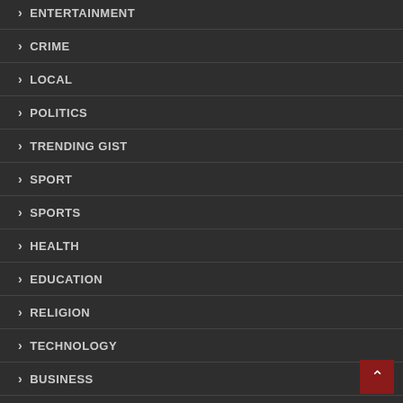› ENTERTAINMENT
› CRIME
› LOCAL
› POLITICS
› TRENDING GIST
› SPORT
› SPORTS
› HEALTH
› EDUCATION
› RELIGION
› TECHNOLOGY
› BUSINESS
› ARTICLE